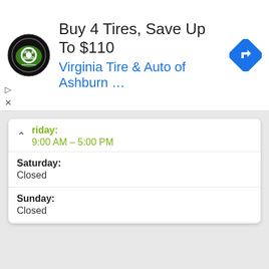[Figure (logo): Virginia Tire & Auto circular logo with green and black design]
Buy 4 Tires, Save Up To $110
Virginia Tire & Auto of Ashburn …
[Figure (illustration): Blue diamond-shaped navigation/turn icon]
riday:
9:00 AM – 5:00 PM
Saturday:
Closed
Sunday:
Closed